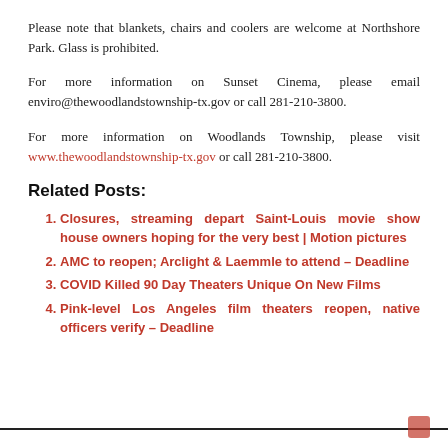Please note that blankets, chairs and coolers are welcome at Northshore Park. Glass is prohibited.
For more information on Sunset Cinema, please email enviro@thewoodlandstownship-tx.gov or call 281-210-3800.
For more information on Woodlands Township, please visit www.thewoodlandstownship-tx.gov or call 281-210-3800.
Related Posts:
Closures, streaming depart Saint-Louis movie show house owners hoping for the very best | Motion pictures
AMC to reopen; Arclight & Laemmle to attend – Deadline
COVID Killed 90 Day Theaters Unique On New Films
Pink-level Los Angeles film theaters reopen, native officers verify – Deadline